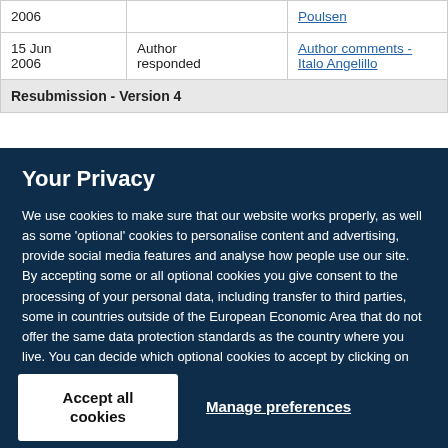| Date | Event | Details |
| --- | --- | --- |
| 2006 |  | Poulsen |
| 15 Jun 2006 | Author responded | Author comments - Italo Angelillo |
| Resubmission - Version 4 |  |  |
Your Privacy
We use cookies to make sure that our website works properly, as well as some 'optional' cookies to personalise content and advertising, provide social media features and analyse how people use our site. By accepting some or all optional cookies you give consent to the processing of your personal data, including transfer to third parties, some in countries outside of the European Economic Area that do not offer the same data protection standards as the country where you live. You can decide which optional cookies to accept by clicking on 'Manage Settings', where you can also find more information about how your personal data is processed. Further information can be found in our privacy policy.
Accept all cookies
Manage preferences